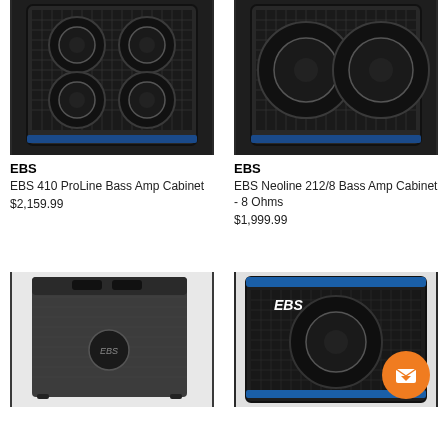[Figure (photo): EBS 410 ProLine Bass Amp Cabinet - black speaker cabinet with mesh grill and blue accent strip]
EBS
EBS 410 ProLine Bass Amp Cabinet
$2,159.99
[Figure (photo): EBS Neoline 212/8 Bass Amp Cabinet - black speaker cabinet with mesh grill showing two speakers]
EBS
EBS Neoline 212/8 Bass Amp Cabinet - 8 Ohms
$1,999.99
[Figure (photo): EBS bass amp cabinet - black textile covered cabinet with EBS logo badge]
[Figure (photo): EBS bass amp cabinet with blue accent and mesh grill with EBS script logo, orange chat button overlay]